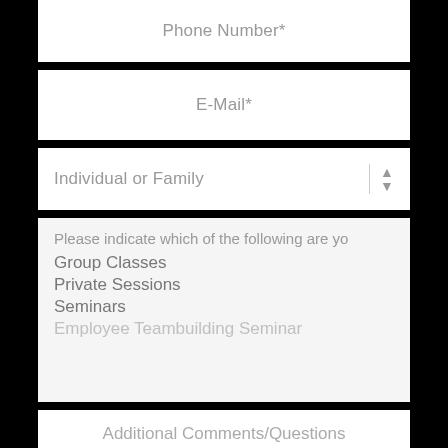Phone Number*
E-Mail*
Individual or Family
Please indicate which of the following are yo
Group Classes
Private Sessions
Seminars
Employee Teambuilding Seminar
Additional Comments/Questions